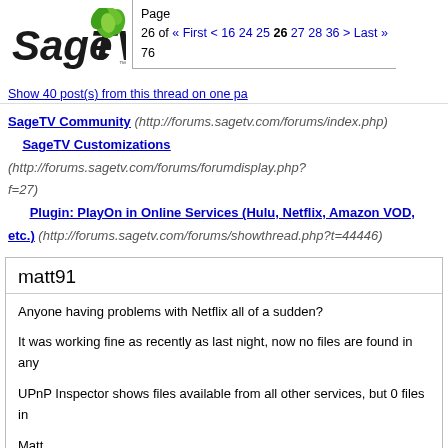[Figure (logo): SageTV logo with green flower/leaf icon and black text]
Page 26 of 76  « First  <  16  24  25  26  27  28  36  >  Last »
Show 40 post(s) from this thread on one page
SageTV Community (http://forums.sagetv.com/forums/index.php) - SageTV Customizations (http://forums.sagetv.com/forums/forumdisplay.php?f=27) - - Plugin: PlayOn in Online Services (Hulu, Netflix, Amazon VOD, etc.) (http://forums.sagetv.com/forums/showthread.php?t=44446)
matt91
Anyone having problems with Netflix all of a sudden?

It was working fine as recently as last night, now no files are found in any

UPnP Inspector shows files available from all other services, but 0 files in

Matt

PS I checked my username/pass in Playon and it's fine. I can watch from

PPS When I try to navigate to the Netflix subfolders, I get an endless "the process.

The log (seems to) show that it is never actually browsing the netflix struc night and I haven't changed anything - but who knows.